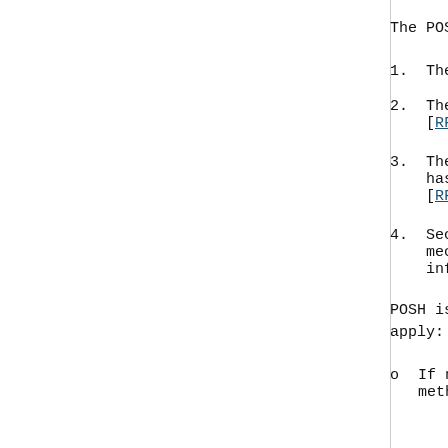The POSH prooftype is defi
1.  The server's proof con
2.  The proof is checked a [RFC6125].
3.  The client's verificat hash of the PKIX certi [RFC5785].
4.  Secure DNS is not nece mechanism relies on th infrastructure.
POSH is defined in [RFC771 apply:
o  If no verification mate methods described in [